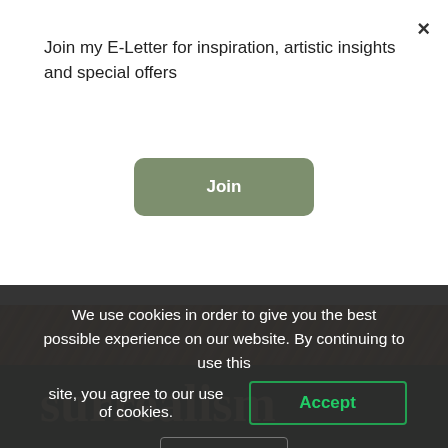Join my E-Letter for inspiration, artistic insights and special offers
×
Join
[Figure (photo): Close-up texture of roasted coffee beans in warm brown tones]
surrealism
We use cookies in order to give you the best possible experience on our website. By continuing to use this site, you agree to our use of cookies.
Accept
Reject